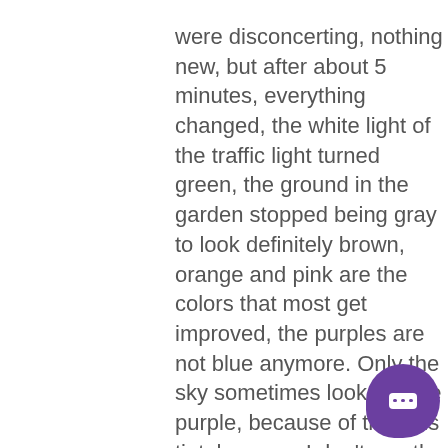were disconcerting, nothing new, but after about 5 minutes, everything changed, the white light of the traffic light turned green, the ground in the garden stopped being gray to look definitely brown, orange and pink are the colors that most get improved, the purples are not blue anymore. Only the sky sometimes looks a little purple, because of the lens tint, however I don't see the reddish color that many complain about. The Enchroma test
[Figure (other): Purple rounded chat button icon in the bottom-right corner]